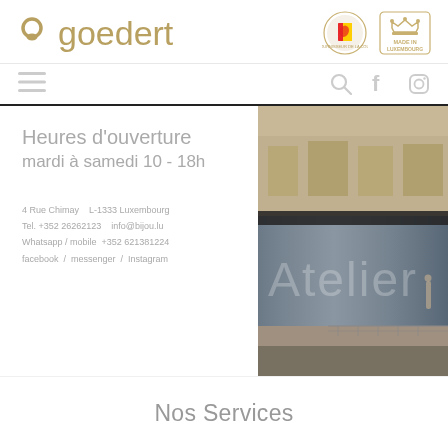goedert — logo with badges (Fournisseur de la Cour, Made in Luxembourg)
Heures d'ouverture
mardi à samedi 10 - 18h
4 Rue Chimay   L-1333 Luxembourg
Tel. +352 26262123   info@bijou.lu
Whatsapp / mobile  +352 621381224
facebook  /  messenger  /  Instagram
[Figure (photo): Exterior photo of Goedert jewellery store showing 'Atelier' signage in window glass, street view of a building in Luxembourg]
Nos Services